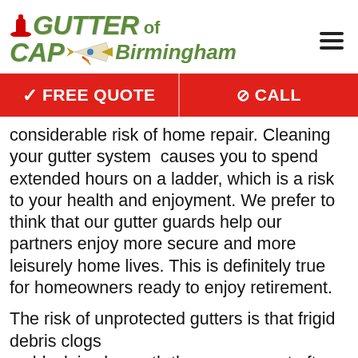Gutter Cap of Birmingham
✓ FREE QUOTE   ⊘ CALL
considerable risk of home repair. Cleaning your gutter system causes you to spend extended hours on a ladder, which is a risk to your health and enjoyment. We prefer to think that our gutter guards help our partners enjoy more secure and more leisurely home lives. This is definitely true for homeowners ready to enjoy retirement.
The risk of unprotected gutters is that frigid debris clogs se black ice beneath the eaves, most often on walkways. A major safety hazard that gutter guards do